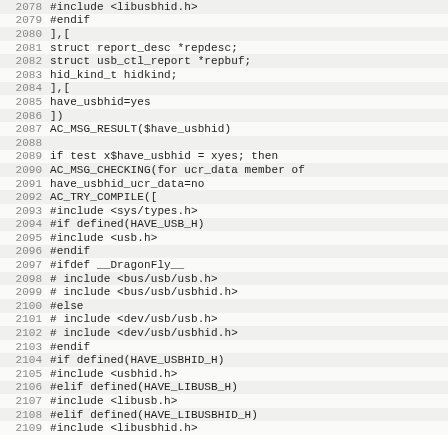Source code listing lines 2078-2109, shell/autoconf script with USB HID detection logic
2078    #include <libusbhid.h>
2079    #endif
2080    ],[
2081        struct report_desc *repdesc;
2082        struct usb_ctl_report *repbuf;
2083        hid_kind_t hidkind;
2084    ],[
2085    have_usbhid=yes
2086    ])
2087    AC_MSG_RESULT($have_usbhid)
2088    (blank)
2089        if test x$have_usbhid = xyes; then
2090            AC_MSG_CHECKING(for ucr_data member of
2091            have_usbhid_ucr_data=no
2092            AC_TRY_COMPILE([
2093                #include <sys/types.h>
2094                #if defined(HAVE_USB_H)
2095                #include <usb.h>
2096                #endif
2097                #ifdef __DragonFly__
2098                # include <bus/usb/usb.h>
2099                # include <bus/usb/usbhid.h>
2100                #else
2101                # include <dev/usb/usb.h>
2102                # include <dev/usb/usbhid.h>
2103                #endif
2104                #if defined(HAVE_USBHID_H)
2105                #include <usbhid.h>
2106                #elif defined(HAVE_LIBUSB_H)
2107                #include <libusb.h>
2108                #elif defined(HAVE_LIBUSBHID_H)
2109                #include <libusbhid.h>